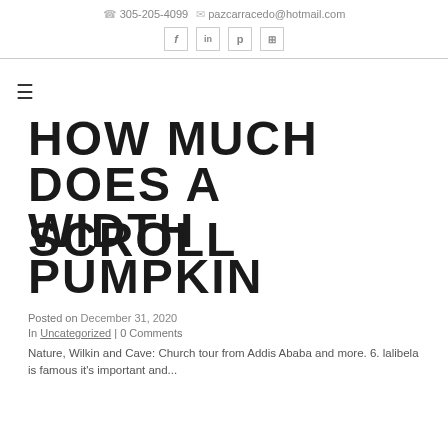305-205-4099  pazcarracedo@hotmail.com
HOW MUCH DOES A SCROLL WIDTH PUMPKIN FARM MAKE
Posted on December 31, 2020
In Uncategorized | 0 Comments
Nature, Wilkin and Cave: Church tour from Addis Ababa and more. 6. lalibela is famous it's important and...